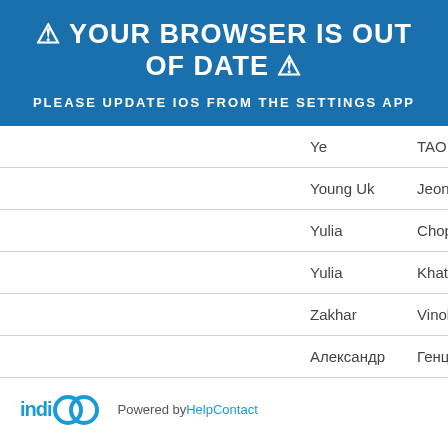⚠ YOUR BROWSER IS OUT OF DATE ⚠
PLEASE UPDATE IOS FROM THE SETTINGS APP
| First Name | Last Name |
| --- | --- |
| Ye | TAO |
| Young Uk | Jeong |
| Yulia | Chopc |
| Yulia | Khatc |
| Zakhar | Vinok |
| Александр | Генце |
Powered by Indico · Help · Contact